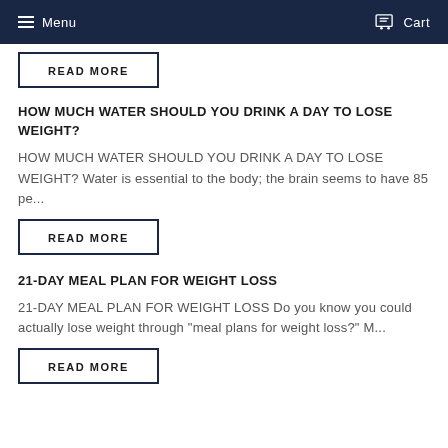Menu   Cart
READ MORE
HOW MUCH WATER SHOULD YOU DRINK A DAY TO LOSE WEIGHT?
HOW MUCH WATER SHOULD YOU DRINK A DAY TO LOSE WEIGHT? Water is essential to the body; the brain seems to have 85 pe...
READ MORE
21-DAY MEAL PLAN FOR WEIGHT LOSS
21-DAY MEAL PLAN FOR WEIGHT LOSS Do you know you could actually lose weight through "meal plans for weight loss?" M...
READ MORE